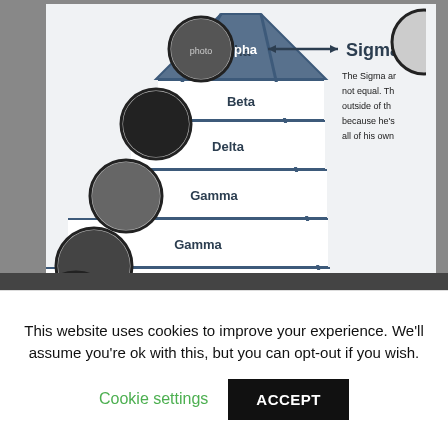[Figure (infographic): A social hierarchy pyramid infographic showing tiers Alpha, Beta, Delta, Gamma, Omega (from top to bottom). Each tier has a circular portrait photo of a person next to it. To the right, a double-headed arrow points from Alpha to 'Sigma' with a partially visible description text. The image appears to be from a meme or internet article about male social hierarchy archetypes.]
This website uses cookies to improve your experience. We'll assume you're ok with this, but you can opt-out if you wish.
Cookie settings
ACCEPT